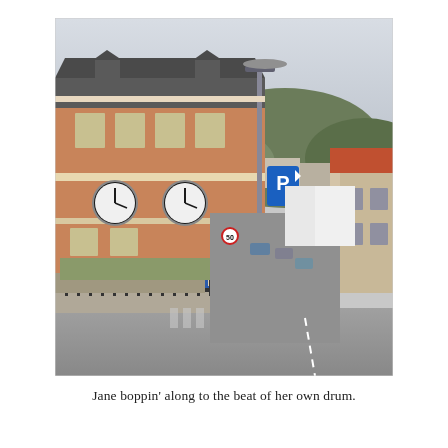[Figure (photo): Street-level photograph of a German town showing a large two-storey brick building (possibly a train station or town hall) with two large clock faces on its facade, blue metal staircase, a blue parking sign (P), a street lamp, iron fence, paved road, and in the background forested hills and residential buildings.]
Jane boppin' along to the beat of her own drum.